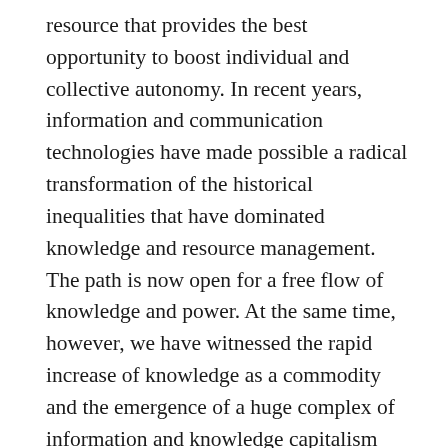resource that provides the best opportunity to boost individual and collective autonomy. In recent years, information and communication technologies have made possible a radical transformation of the historical inequalities that have dominated knowledge and resource management. The path is now open for a free flow of knowledge and power. At the same time, however, we have witnessed the rapid increase of knowledge as a commodity and the emergence of a huge complex of information and knowledge capitalism and an increasing corporate and state control of its potential benefits. It is to the struggle between this opposing tendencies and to the increase of the means for the social liberation that my research